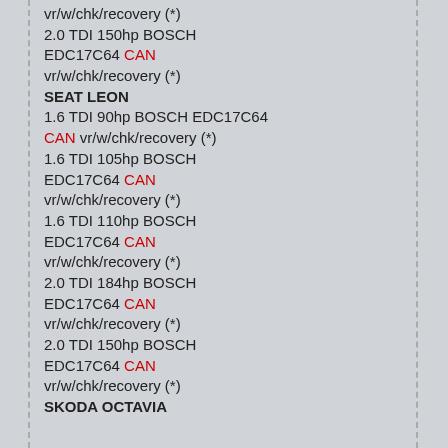vr/w/chk/recovery (*)
2.0 TDI 150hp BOSCH EDC17C64 CAN vr/w/chk/recovery (*)
SEAT LEON
1.6 TDI 90hp BOSCH EDC17C64 CAN vr/w/chk/recovery (*)
1.6 TDI 105hp BOSCH EDC17C64 CAN vr/w/chk/recovery (*)
1.6 TDI 110hp BOSCH EDC17C64 CAN vr/w/chk/recovery (*)
2.0 TDI 184hp BOSCH EDC17C64 CAN vr/w/chk/recovery (*)
2.0 TDI 150hp BOSCH EDC17C64 CAN vr/w/chk/recovery (*)
SKODA OCTAVIA